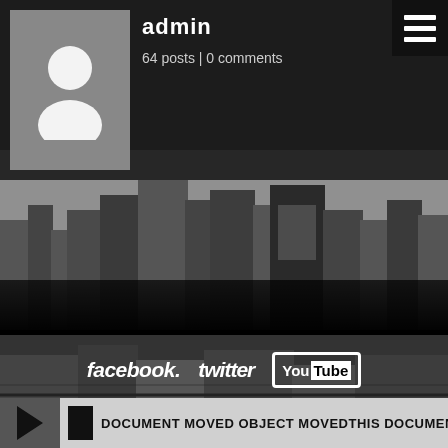[Figure (screenshot): Website/app screenshot showing an admin profile page with user avatar placeholder, username 'admin', post and comment counts, hamburger menu icon, city skyline background (Detroit), social media logos (Facebook, Twitter, YouTube), and a media player bar at the bottom.]
admin
64 posts | 0 comments
facebook.   twitter   YouTube
DOCUMENT MOVED OBJECT MOVEDTHIS DOCUMENT